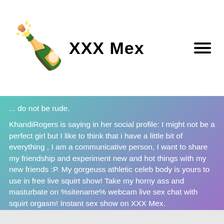XXX Mex
... do not be rude. KhandiRogers is saying in her social profile: I might not be a perfect girl but I like to think that i have a little bit of everything , I am a communicative person, I want to share my friendship and experiment new and hot things with my new friends :P. My gorgeuss athletic celeb body is yours to use in free live squirt show! Take my horny ass and masturbate on %sitename% webcam live sex chat with squirt orgasm! Instant sex show on XXX Mex.